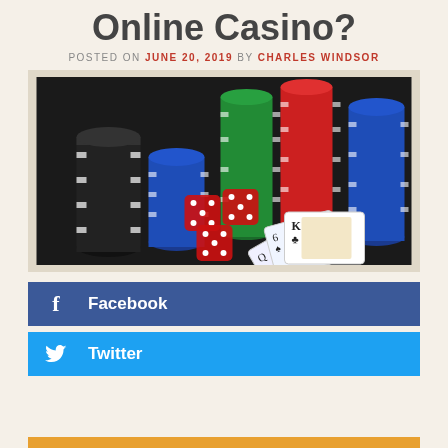Online Casino?
POSTED ON JUNE 20, 2019 BY CHARLES WINDSOR
[Figure (photo): Casino chips in black, blue, green, red, and white stacked on a dark table, along with red transparent dice and playing cards showing Q clubs, 6 spades, K clubs, and an Ace]
Facebook
Twitter